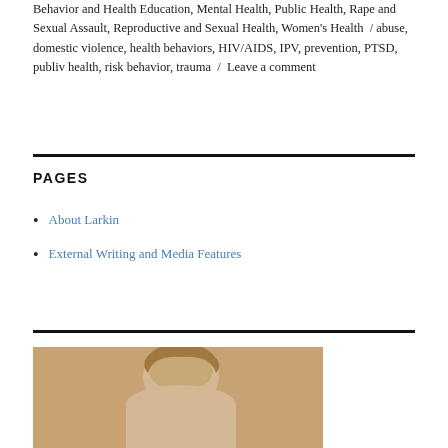Behavior and Health Education, Mental Health, Public Health, Rape and Sexual Assault, Reproductive and Sexual Health, Women's Health / abuse, domestic violence, health behaviors, HIV/AIDS, IPV, prevention, PTSD, publiv health, risk behavior, trauma / Leave a comment
PAGES
About Larkin
External Writing and Media Features
[Figure (photo): Partial photo of a person with light hair, cropped at bottom of page]